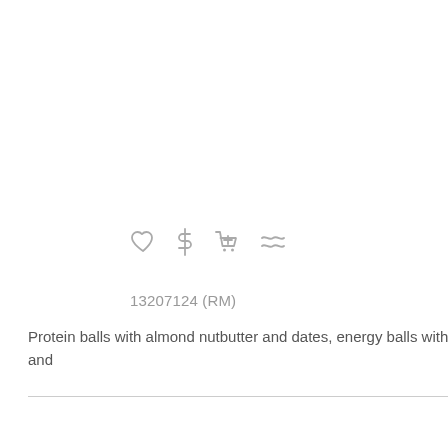[Figure (illustration): Row of four UI icons: heart (favorite), dollar sign (price), shopping cart (add to cart), and tilde/approximately sign (similar)]
13207124 (RM)
Protein balls with almond nutbutter and dates, energy balls with honey, nuts and